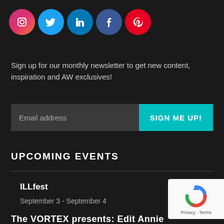[Figure (other): Row of 5 circular social media icons: Instagram (gradient pink/orange), Twitter (blue), LinkedIn (blue), Facebook (dark blue), Pinterest (red)]
Sign up for our monthly newsletter to get new content, inspiration and AW exclusives!
[Figure (other): Email address input field (dark grey) with 'SIGN ME UP!' teal button]
UPCOMING EVENTS
ILLfest
September 3 - September 4
The VORTEX presents: Edit Annie
[Figure (other): Google reCAPTCHA badge with blue/red/green arrow logo and Privacy - Terms text]